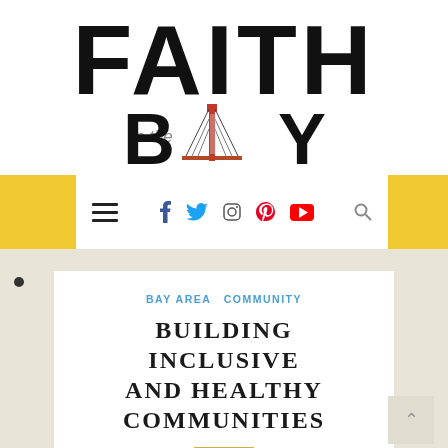[Figure (logo): Faith in the Bay logo — large bold black letters FAITH on top, then 'in the' in smaller grey text, then bold 'BAY' with a Golden Gate Bridge illustration replacing the letter A]
Navigation bar with hamburger menu, social icons (Facebook, Twitter, Instagram, Pinterest, YouTube), and search icon, flanked by yellow background panels
BAY AREA  COMMUNITY
BUILDING INCLUSIVE AND HEALTHY COMMUNITIES
Posted on June 17, 2010